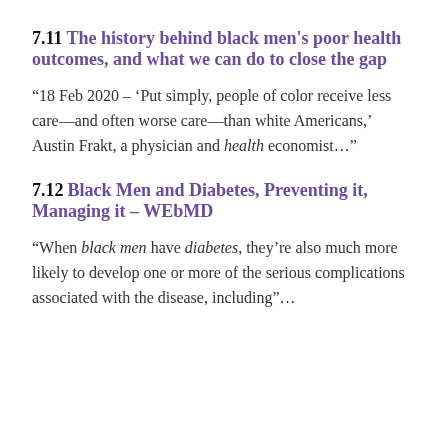7.11 The history behind black men's poor health outcomes, and what we can do to close the gap
“18 Feb 2020 – ‘Put simply, people of color receive less care—and often worse care—than white Americans,’ Austin Frakt, a physician and health economist…”
7.12 Black Men and Diabetes, Preventing it, Managing it – WEbMD
“When black men have diabetes, they’re also much more likely to develop one or more of the serious complications associated with the disease, including”…